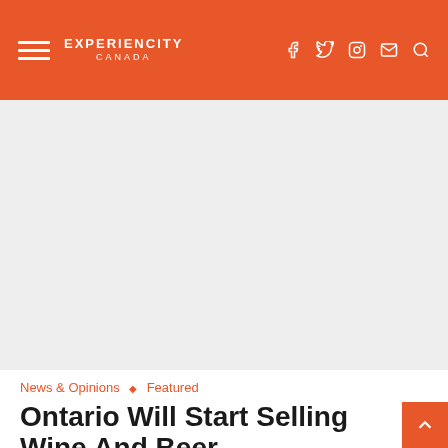EXPERIENCITY CANADA
[Figure (other): Gray placeholder area representing an advertisement or hero image]
News & Opinions ◇ Featured
Ontario Will Start Selling Wine And Beer Corner Stores